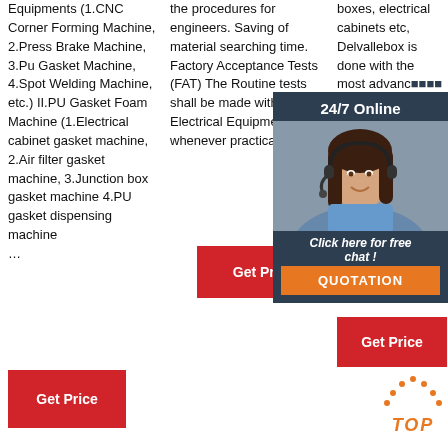Equipments (1.CNC Corner Forming Machine, 2.Press Brake Machine, 3.Pu Gasket Machine, 4.Spot Welding Machine, etc.) II.PU Gasket Foam Machine (1.Electrical cabinet gasket machine, 2.Air filter gasket machine, 3.Junction box gasket machine 4.PU gasket dispensing machine …
the procedures for engineers. Saving of material searching time. Factory Acceptance Tests (FAT) The Routine tests shall be made with each Electrical Equipment and, whenever practicable,
boxes, electrical cabinets etc, Delvallebox is done with the most advanced methods, precision, conscientious craftsmanship, a difference, competitive, best with customer…
[Figure (photo): Customer service representative wearing headset, smiling, overlaid on dark blue chat widget panel with 24/7 Online header, Click here for free chat text, and QUOTATION button]
[Figure (illustration): Orange TOP arrow/triangle icon with TOP text in orange italic font]
Get Price
Get Price
Get Price